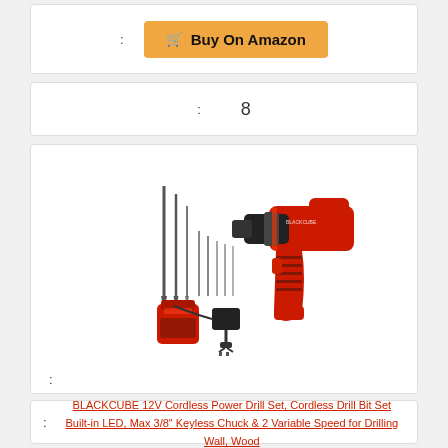[Figure (other): Buy on Amazon button with shopping cart icon, orange/amber colored button]
: 8
[Figure (photo): BLACKCUBE 12V Cordless Power Drill Set with drill bits, battery pack, and charger on white background]
BLACKCUBE 12V Cordless Power Drill Set, Cordless Drill Bit Set Built-in LED, Max 3/8" Keyless Chuck & 2 Variable Speed for Drilling Wall, Wood